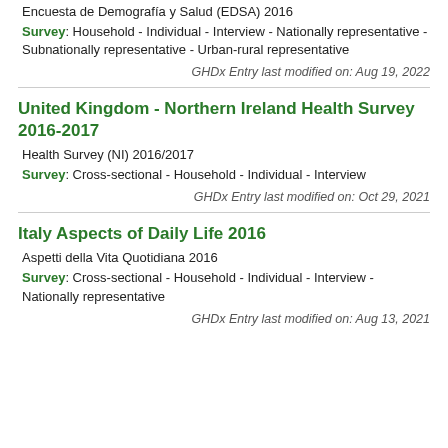Encuesta de Demografía y Salud (EDSA) 2016
Survey: Household - Individual - Interview - Nationally representative - Subnationally representative - Urban-rural representative
GHDx Entry last modified on: Aug 19, 2022
United Kingdom - Northern Ireland Health Survey 2016-2017
Health Survey (NI) 2016/2017
Survey: Cross-sectional - Household - Individual - Interview
GHDx Entry last modified on: Oct 29, 2021
Italy Aspects of Daily Life 2016
Aspetti della Vita Quotidiana 2016
Survey: Cross-sectional - Household - Individual - Interview - Nationally representative
GHDx Entry last modified on: Aug 13, 2021